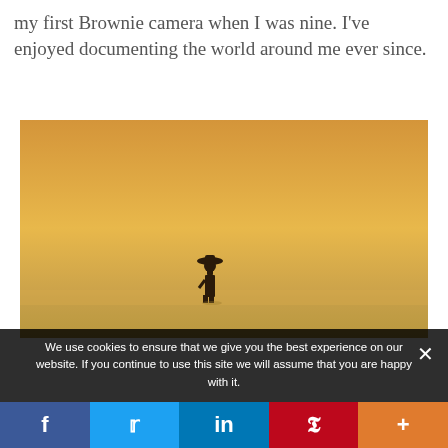my first Brownie camera when I was nine. I've enjoyed documenting the world around me ever since.
[Figure (photo): Silhouette of a person wearing a wide-brimmed hat standing on a flat landscape against a golden/orange hazy sky at sunset]
We use cookies to ensure that we give you the best experience on our website. If you continue to use this site we will assume that you are happy with it.